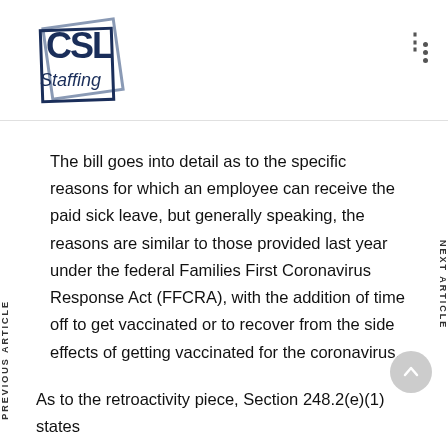[Figure (logo): CSL Staffing logo with geometric square frames and italic text]
The bill goes into detail as to the specific reasons for which an employee can receive the paid sick leave, but generally speaking, the reasons are similar to those provided last year under the federal Families First Coronavirus Response Act (FFCRA), with the addition of time off to get vaccinated or to recover from the side effects of getting vaccinated for the coronavirus.
As to the retroactivity piece, Section 248.2(e)(1) states